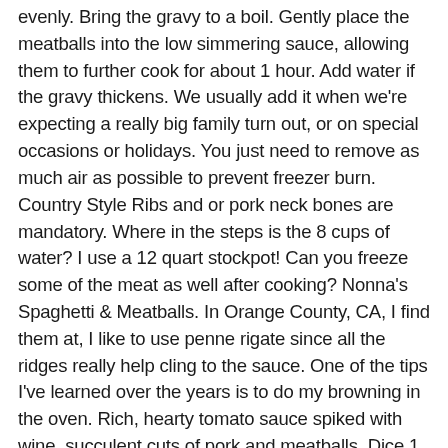evenly. Bring the gravy to a boil. Gently place the meatballs into the low simmering sauce, allowing them to further cook for about 1 hour. Add water if the gravy thickens. We usually add it when we're expecting a really big family turn out, or on special occasions or holidays. You just need to remove as much air as possible to prevent freezer burn. Country Style Ribs and or pork neck bones are mandatory. Where in the steps is the 8 cups of water? I use a 12 quart stockpot! Can you freeze some of the meat as well after cooking? Nonna's Spaghetti & Meatballs. In Orange County, CA, I find them at, I like to use penne rigate since all the ridges really help cling to the sauce. One of the tips I've learned over the years is to do my browning in the oven. Rich, hearty tomato sauce spiked with wine, succulent cuts of pork and meatballs. Dice 1 onion. In a large bowl empty 1-2 cans of the plum tomatoes. 1 1/2 tablespoons chopped Italian parsley. Marinara is a simple red sauce, often just garlic, herbs, and tomatoes, with no onions. Pour equal amounts of vegetable oil and olive oil into a large (12-inch) skillet to a depth of 1/4-inch. Bada Bang!! In a small